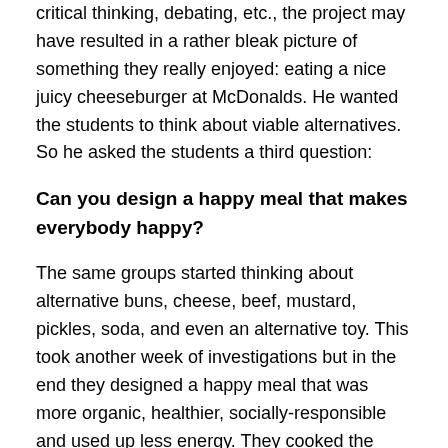critical thinking, debating, etc., the project may have resulted in a rather bleak picture of something they really enjoyed: eating a nice juicy cheeseburger at McDonalds. He wanted the students to think about viable alternatives. So he asked the students a third question:
Can you design a happy meal that makes everybody happy?
The same groups started thinking about alternative buns, cheese, beef, mustard, pickles, soda, and even an alternative toy. This took another week of investigations but in the end they designed a happy meal that was more organic, healthier, socially-responsible and used up less energy. They cooked the happy meal themselves in the school kitchen for all junior high students and did a taste survey which demonstrated that the meal was a least as